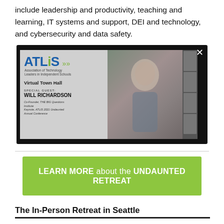include leadership and productivity, teaching and learning, IT systems and support, DEI and technology, and cybersecurity and data safety.
[Figure (screenshot): ATLiS (Association of Technology Leaders in Independent Schools) Virtual Town Hall video screenshot featuring special guest Will Richardson, Co-Founder of THE BIG Questions Institute, Keynote at ATLIS 2021 Undaunted Annual Conference. Shows a man on screen and side panel with other participants.]
LEARN MORE about the UNDAUNTED RETREAT
The In-Person Retreat in Seattle